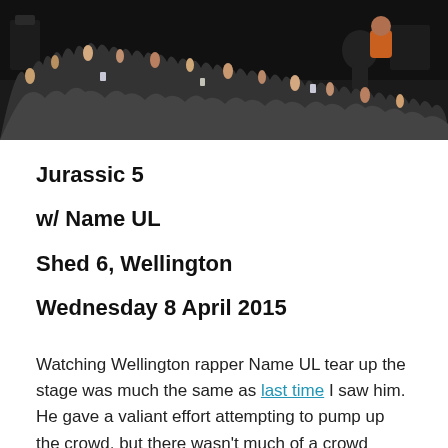[Figure (photo): Concert crowd with raised hands and arms, dark stage lighting, band visible in background]
Jurassic 5
w/ Name UL
Shed 6, Wellington
Wednesday 8 April 2015
Watching Wellington rapper Name UL tear up the stage was much the same as last time I saw him. He gave a valiant effort attempting to pump up the crowd, but there wasn't much of a crowd present to be pumped up. I'll give him credit, Name UL has skills and